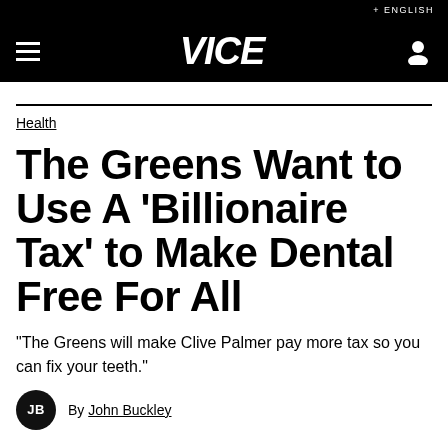+ ENGLISH
[Figure (logo): VICE logo in white italic bold text on black navigation bar with hamburger menu and user icon]
Health
The Greens Want to Use A ‘Billionaire Tax’ to Make Dental Free For All
“The Greens will make Clive Palmer pay more tax so you can fix your teeth.”
By John Buckley